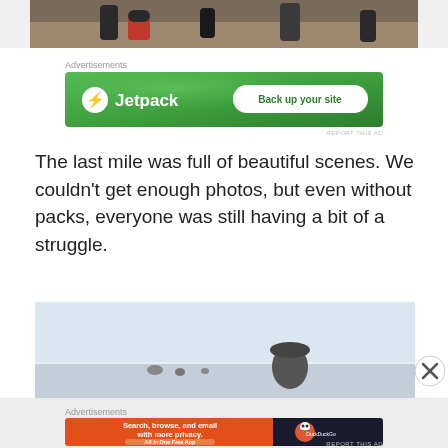[Figure (photo): Top portion of a photo showing people on a rocky outdoor landscape, partially cropped at top of page]
Advertisements
[Figure (screenshot): Jetpack advertisement banner with green background showing Jetpack logo and 'Back up your site' button]
REPORT THIS AD
The last mile was full of beautiful scenes. We couldn't get enough photos, but even without packs, everyone was still having a bit of a struggle.
[Figure (photo): Photo of people outdoors with a light sky background, figure visible in the distance]
Advertisements
[Figure (screenshot): DuckDuckGo advertisement banner with orange and dark sections: 'Search, browse, and email with more privacy. All in One Free App' with DuckDuckGo logo]
REPORT THIS AD